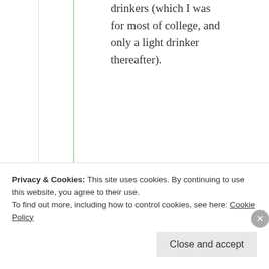drinkers (which I was for most of college, and only a light drinker thereafter).
★ Like
Sam
April 6, 2012 at 10:28 pm
Privacy & Cookies: This site uses cookies. By continuing to use this website, you agree to their use. To find out more, including how to control cookies, see here: Cookie Policy
Close and accept